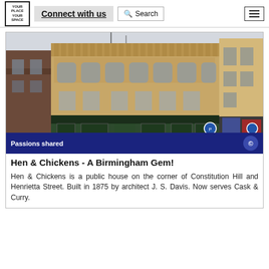Connect with us | Search
[Figure (photo): Victorian-era public house building on a street corner in Birmingham. The ornate brick building has arched windows and decorative stonework on its facade. The ground floor shows dark green pub frontage. Adjacent buildings are visible on both sides.]
Passions shared
Hen & Chickens - A Birmingham Gem!
Hen & Chickens is a public house on the corner of Constitution Hill and Henrietta Street. Built in 1875 by architect J. S. Davis. Now serves Cask & Curry.